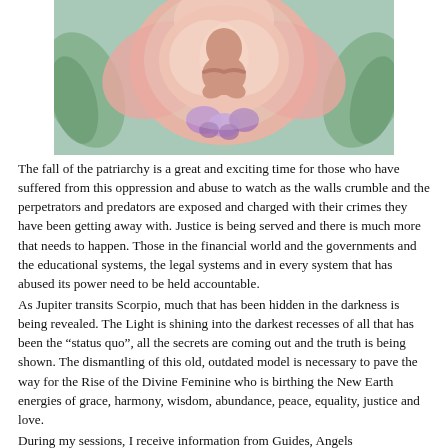[Figure (illustration): Painting of a figure (baby or divine being) surrounded by large pink and peach floral or organic shapes, with purple flowers and green swirling elements on a light teal background.]
The fall of the patriarchy is a great and exciting time for those who have suffered from this oppression and abuse to watch as the walls crumble and the perpetrators and predators are exposed and charged with their crimes they have been getting away with. Justice is being served and there is much more that needs to happen. Those in the financial world and the governments and the educational systems, the legal systems and in every system that has abused its power need to be held accountable.
As Jupiter transits Scorpio, much that has been hidden in the darkness is being revealed. The Light is shining into the darkest recesses of all that has been the “status quo”, all the secrets are coming out and the truth is being shown. The dismantling of this old, outdated model is necessary to pave the way for the Rise of the Divine Feminine who is birthing the New Earth energies of grace, harmony, wisdom, abundance, peace, equality, justice and love.
During my sessions, I receive information from Guides, Angels